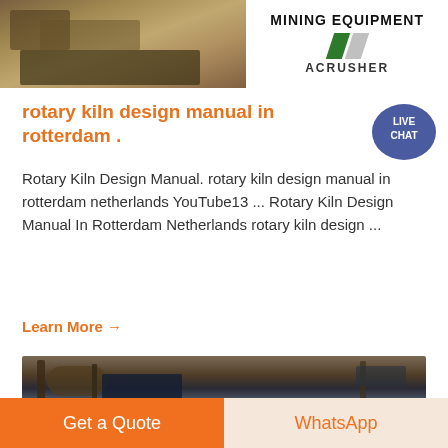[Figure (photo): Mining equipment banner photo at top — left side shows industrial machinery/rocks, right side shows white banner with 'MINING EQUIPMENT ACRUSHER' text and green/grey diagonal stripes logo]
rotary kiln design manual in rotterdam .
Rotary Kiln Design Manual. rotary kiln design manual in rotterdam netherlands YouTube13 ... Rotary Kiln Design Manual In Rotterdam Netherlands rotary kiln design ...
Learn More →
[Figure (photo): Industrial mining/crushing plant machinery with conveyor belts, crushers, and equipment against a mountainous background]
Get a Quote
WhatsApp